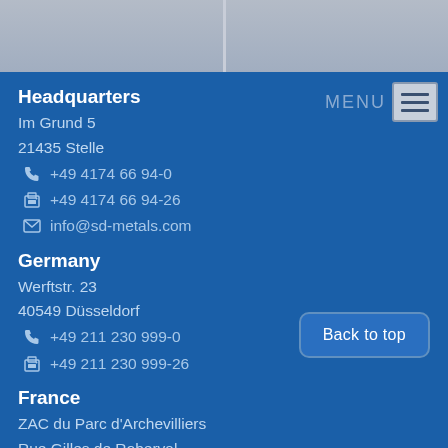[Figure (photo): Two grayscale/blue-tinted industrial photos side by side at the top of the page]
Headquarters
Im Grund 5
21435 Stelle
+49 4174 66 94-0
+49 4174 66 94-26
info@sd-metals.com
Germany
Werftstr. 23
40549 Düsseldorf
+49 211 230 999-0
+49 211 230 999-26
Back to top
France
ZAC du Parc d'Archevilliers
Rue Gilles de Roberval